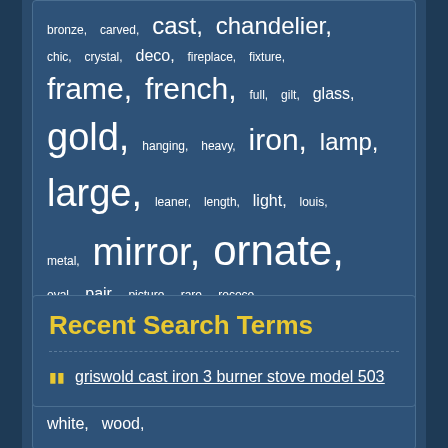bronze, carved, cast, chandelier, chic, crystal, deco, fireplace, fixture, frame, french, full, gilt, glass, gold, hanging, heavy, iron, lamp, large, leaner, length, light, louis, metal, mirror, ornate, oval, pair, picture, rare, rococo, silver, solid, sterling, style, table, victorian, vintage, wall, white, wood,
Recent Search Terms
griswold cast iron 3 burner stove model 503